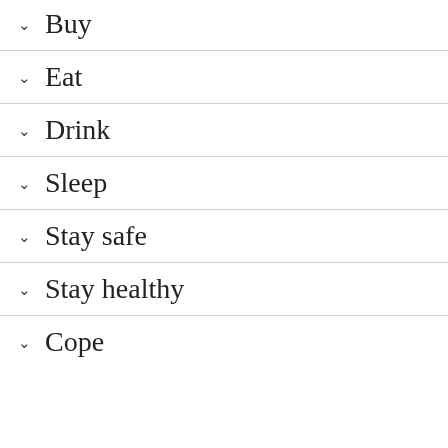Buy
Eat
Drink
Sleep
Stay safe
Stay healthy
Cope